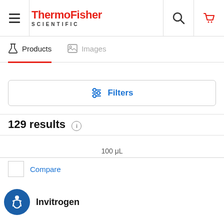[Figure (logo): ThermoFisher Scientific logo with hamburger menu, search icon, and cart icon in header navigation bar]
Products   Images
Filters
129 results
100 μL
Compare
Invitrogen